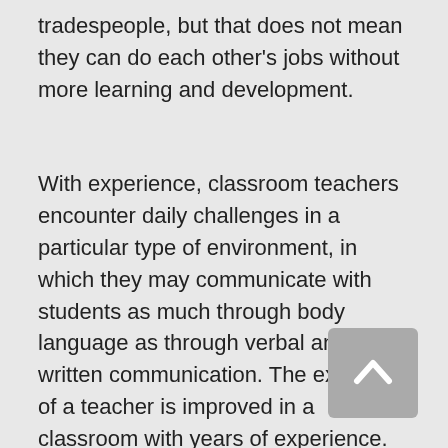tradespeople, but that does not mean they can do each other's jobs without more learning and development.
With experience, classroom teachers encounter daily challenges in a particular type of environment, in which they may communicate with students as much through body language as through verbal and written communication. The expertise of a teacher is improved in a classroom with years of experience. Good classroom teachers develop their teaching skills and build up a great repertoire of techniques to use in all the different classroom situations they encounter with experience. They learn to observe and interpret the reactions of students. They can detect students who need help and respond accordingly and
[Figure (other): A grey rounded square button with a white upward-pointing chevron/arrow icon, resembling a 'back to top' navigation button.]